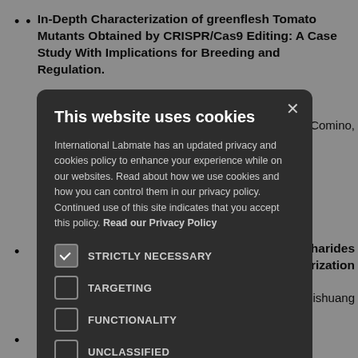In-Depth Characterization of greenflesh Tomato Mutants Obtained by CRISPR/Cas9 Editing: A Case Study With Implications for Breeding and Regulation. … nzia Comino,
… accharides … acterization … , Lishuang
… Ab … ny-Mass … vsC and … belterhoff,
[Figure (screenshot): Cookie consent modal dialog over website content. Title: 'This website uses cookies'. Body text about International Labmate privacy policy. Checkboxes for STRICTLY NECESSARY (checked), TARGETING, FUNCTIONALITY, UNCLASSIFIED. Buttons: I AGREE (green) and DECLINE ALL (outlined). Show details option at bottom.]